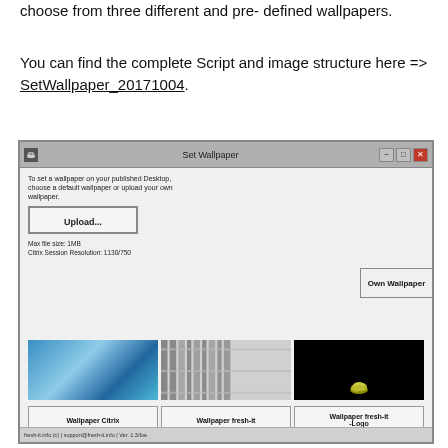choose from three different and pre- defined wallpapers.
You can find the complete Script and image structure here => SetWallpaper_20171004.
[Figure (screenshot): Screenshot of a Windows application called 'Set Wallpaper'. The app allows users to set a wallpaper on a published Desktop by choosing a default wallpaper or uploading their own. It has an Upload button, shows Max file size: 1MB and Citrix Session Resolution: 1130/750. Three wallpaper thumbnails are shown: a blue abstract, a server room, and a black background with a small cloud logo. Below each thumbnail are buttons labeled 'Wallpaper Citrix', 'Wallpaper fresh-it', and 'Wallpaper fresh-it -Logo'. An 'Own Wallpaper' tab is visible on the right side.]